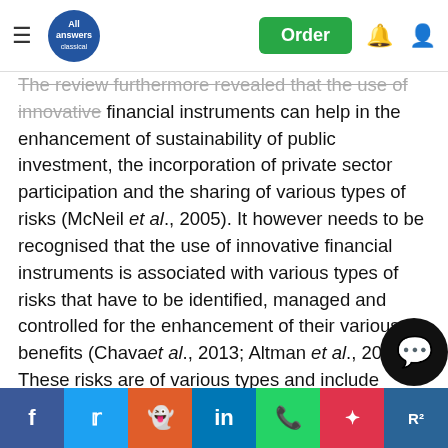All Answers Classic — navigation bar with Order button
The review furthermore revealed that the use of innovative financial instruments can help in the enhancement of sustainability of public investment, the incorporation of private sector participation and the sharing of various types of risks (McNeil et al., 2005). It however needs to be recognised that the use of innovative financial instruments is associated with various types of risks that have to be identified, managed and controlled for the enhancement of their various benefits (Chava et al., 2013; Altman et al., 2005). These risks are of various types and include market risks, interest rate risks, currency risks, liquidity risks, economic risks, country risks, legal risks inflation risks, counterparty risks and settlement risks (Cherotichet al., 2015). Users of financial instruments must recognise and be aware of these risks in order to maximise the benefits of their usage (Cherotich et al., 2015).
Social share bar: Facebook, Twitter, Reddit, LinkedIn, WhatsApp, Mix, ResearchGate